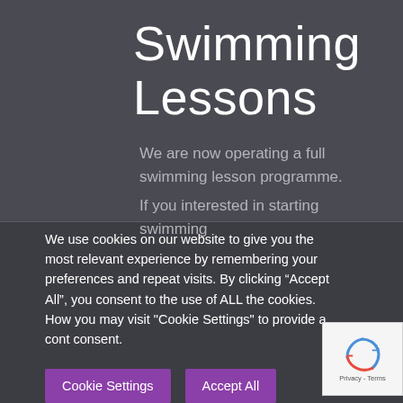Swimming Lessons
We are now operating a full swimming lesson programme.
If you interested in starting swimming
We use cookies on our website to give you the most relevant experience by remembering your preferences and repeat visits. By clicking “Accept All”, you consent to the use of ALL the cookies. How you may visit "Cookie Settings" to provide a cont consent.
Cookie Settings
Accept All